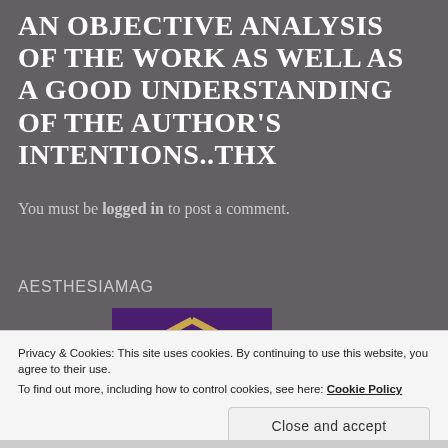AN OBJECTIVE ANALYSIS OF THE WORK AS WELL AS A GOOD UNDERSTANDING OF THE AUTHOR'S INTENTIONS..THX
You must be logged in to post a comment.
AESTHESIAMAG
[Figure (logo): Purple square background with a gold geometric interlocking diamond/knot logo mark for AESTHESIAMAG]
Privacy & Cookies: This site uses cookies. By continuing to use this website, you agree to their use.
To find out more, including how to control cookies, see here: Cookie Policy
Close and accept